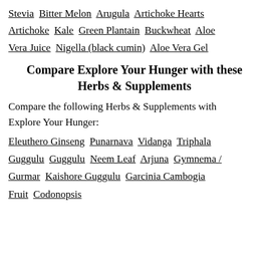Stevia  Bitter Melon  Arugula  Artichoke Hearts
Artichoke  Kale  Green Plantain  Buckwheat  Aloe Vera Juice  Nigella (black cumin)  Aloe Vera Gel
Compare Explore Your Hunger with these Herbs & Supplements
Compare the following Herbs & Supplements with Explore Your Hunger:
Eleuthero Ginseng  Punarnava  Vidanga  Triphala Guggulu  Guggulu  Neem Leaf  Arjuna  Gymnema / Gurmar  Kaishore Guggulu  Garcinia Cambogia Fruit  Codonopsis